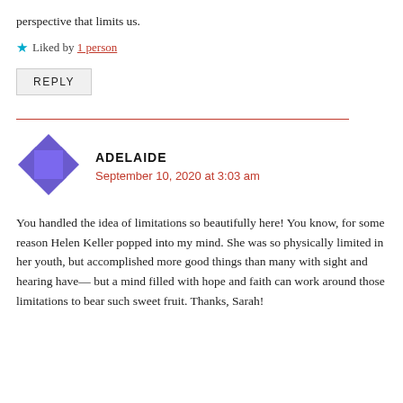perspective that limits us.
★ Liked by 1 person
REPLY
ADELAIDE
September 10, 2020 at 3:03 am
You handled the idea of limitations so beautifully here! You know, for some reason Helen Keller popped into my mind. She was so physically limited in her youth, but accomplished more good things than many with sight and hearing have— but a mind filled with hope and faith can work around those limitations to bear such sweet fruit. Thanks, Sarah!